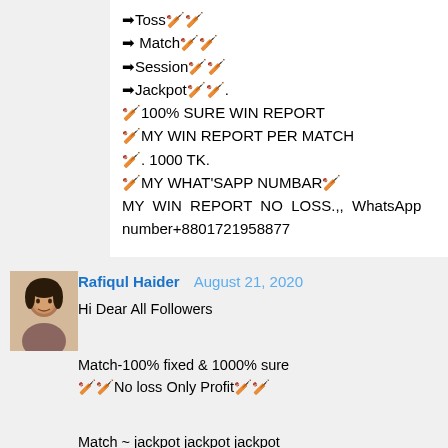➡Toss🏏🏏
➡ Match🏏🏏
➡Session🏏🏏
➡Jackpot🏏🏏.
🏏100% SURE WIN REPORT
🏏MY WIN REPORT PER MATCH
🏏. 1000 TK.
🏏MY WHAT'SAPP NUMBAR🏏
MY WIN REPORT NO LOSS.,, WhatsApp number+8801721958877
[Figure (photo): Profile photo of Rafiqul Haider]
Rafiqul Haider  August 21, 2020
Hi Dear All Followers

Match-100% fixed & 1000% sure
🏏🏏No loss Only Profit🏏🏏

Match ~ jackpot jackpot jackpot

So all match you need just contract with me
WhatsApp 🏏 +8801721958877